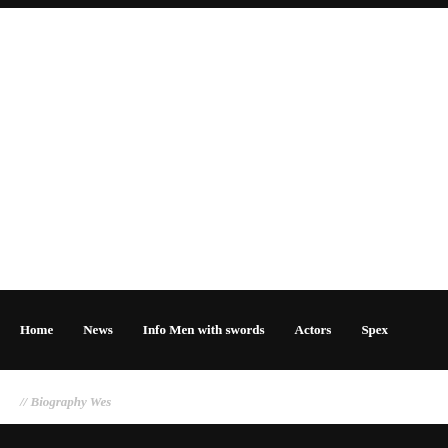Home  News  Info Men with swords  Actors  Spex
// Biography Wes